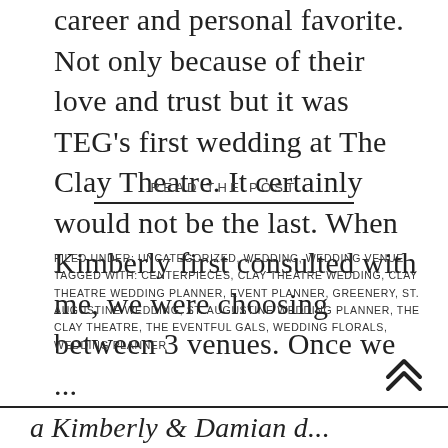career and personal favorite. Not only because of their love and trust but it was TEG's first wedding at The Clay Theatre. It certainly would not be the last. When Kimberly first consulted with me, we were choosing between 3 venues. Once we ...
READ THE POST
FILED UNDER: UNCATEGORIZED, WEDDING, WEDDING VENUE
TAGGED WITH: CENTERPIECES, CLAY THEATRE WEDDING, CLAY THEATRE WEDDING PLANNER, EVENT PLANNER, GREENERY, ST. AUGUSTINE WEDDING, ST. AUGUSTINE WEDDING PLANNER, THE CLAY THEATRE, THE EVENTFUL GALS, WEDDING FLORALS, WEDDING PLANNER